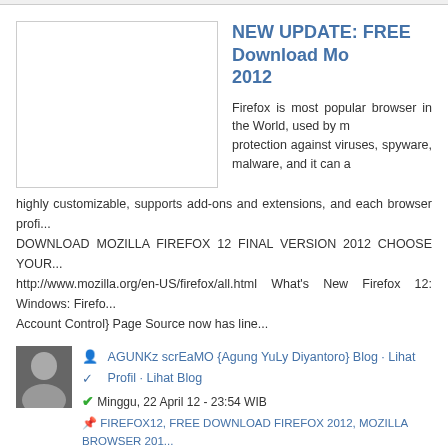NEW UPDATE: FREE Download Mo... 2012
Firefox is most popular browser in the World, used by m... protection against viruses, spyware, malware, and it can a... highly customizable, supports add-ons and extensions, and each browser profi... DOWNLOAD MOZILLA FIREFOX 12 FINAL VERSION 2012 CHOOSE YOUR... http://www.mozilla.org/en-US/firefox/all.html What's New Firefox 12: Windows: Firefo... Account Control} Page Source now has line...
AGUNKz scrEaMO {Agung YuLy Diyantoro} Blog · Lihat Profil · Lihat Blog
Minggu, 22 April 12 - 23:54 WIB
FIREFOX12, FREE DOWNLOAD FIREFOX 2012, MOZILLA BROWSER 201...
UPDATE: FREE DOWNLOAD MOZILLA FIREFOX 12 FINAL VERSION 2012...
AGUNKZSCREAMO
NEW UPDATE: Free Download Goo... Version